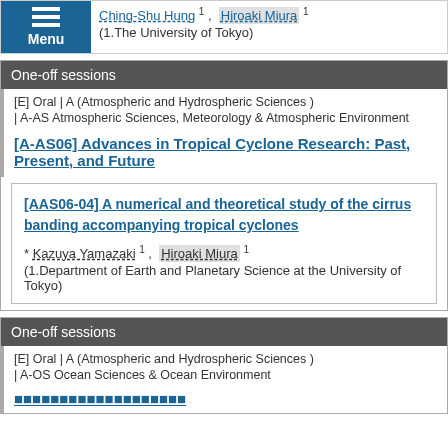Ching-Shu Hung 1, Hiroaki Miura 1
(1.The University of Tokyo)
One-off sessions
[E] Oral | A (Atmospheric and Hydrospheric Sciences ) | A-AS Atmospheric Sciences, Meteorology & Atmospheric Environment
[A-AS06] Advances in Tropical Cyclone Research: Past, Present, and Future
[AAS06-04] A numerical and theoretical study of the cirrus banding accompanying tropical cyclones
* Kazuya Yamazaki 1, Hiroaki Miura 1
(1.Department of Earth and Planetary Science at the University of Tokyo)
One-off sessions
[E] Oral | A (Atmospheric and Hydrospheric Sciences ) | A-OS Ocean Sciences & Ocean Environment